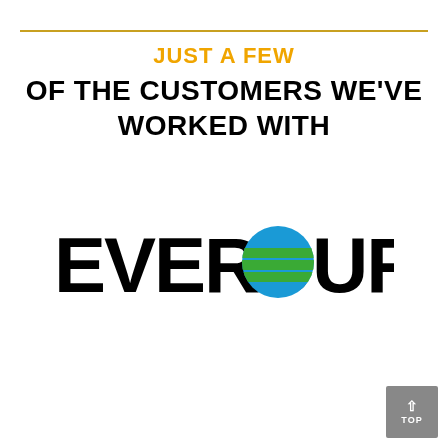JUST A FEW OF THE CUSTOMERS WE'VE WORKED WITH
[Figure (logo): Eversource energy company logo: bold black text 'EVERSOURCE' with a circular globe icon featuring blue and green horizontal stripes replacing the letter O]